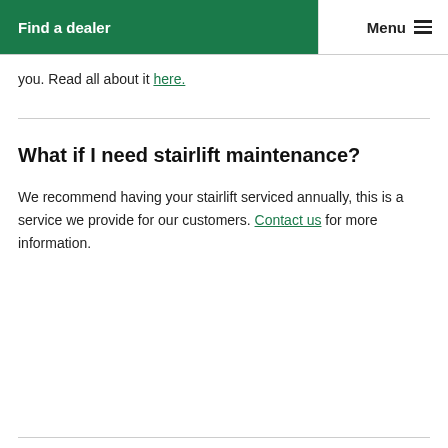Find a dealer | Menu
you. Read all about it here.
What if I need stairlift maintenance?
We recommend having your stairlift serviced annually, this is a service we provide for our customers. Contact us for more information.